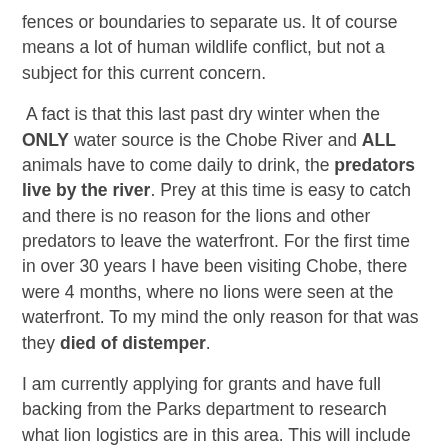fences or boundaries to separate us. It of course means a lot of human wildlife conflict, but not a subject for this current concern.
A fact is that this last past dry winter when the ONLY water source is the Chobe River and ALL animals have to come daily to drink, the predators live by the river. Prey at this time is easy to catch and there is no reason for the lions and other predators to leave the waterfront. For the first time in over 30 years I have been visiting Chobe, there were 4 months, where no lions were seen at the waterfront. To my mind the only reason for that was they died of distemper.
I am currently applying for grants and have full backing from the Parks department to research what lion logistics are in this area. This will include satellite collar monitoring and full blood work for presence of antibodies to various diseases. I know in my heart that they will be positive for distemper exposure. In the interim 2 new prides of lions have moved in to Chobe probably migrating form Savuti or even Zimbabwe. My PRIMARY concern is that I have to take immediate action and vaccinate all dogs in this community, as I did